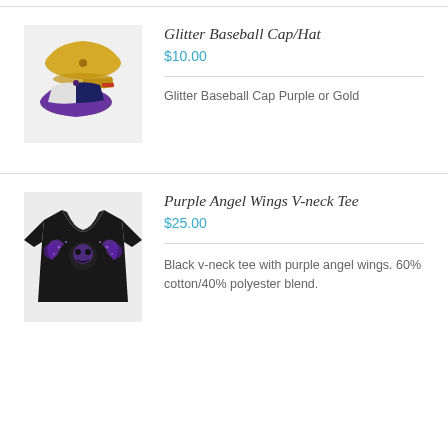[Figure (photo): Product photo of glitter baseball caps in gold and purple/navy colors]
Glitter Baseball Cap/Hat
$10.00
Glitter Baseball Cap Purple or Gold
[Figure (photo): Product photo of black v-neck tee with purple angel wings design]
Purple Angel Wings V-neck Tee
$25.00
Black v-neck tee with purple angel wings. 60% cotton/40% polyester blend.